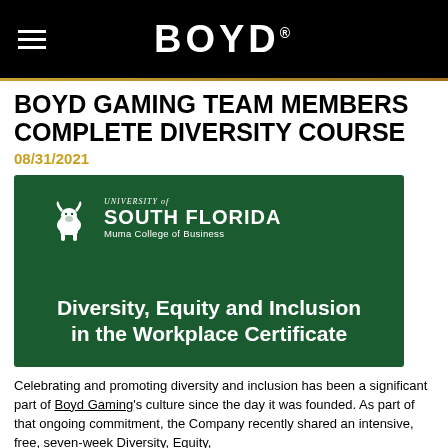BOYD
BOYD GAMING TEAM MEMBERS COMPLETE DIVERSITY COURSE
08/31/2021
[Figure (logo): University of South Florida Muma College of Business — Diversity, Equity and Inclusion in the Workplace Certificate logo on dark green background]
Celebrating and promoting diversity and inclusion has been a significant part of Boyd Gaming's culture since the day it was founded. As part of that ongoing commitment, the Company recently shared an intensive, free, seven-week Diversity, Equity,